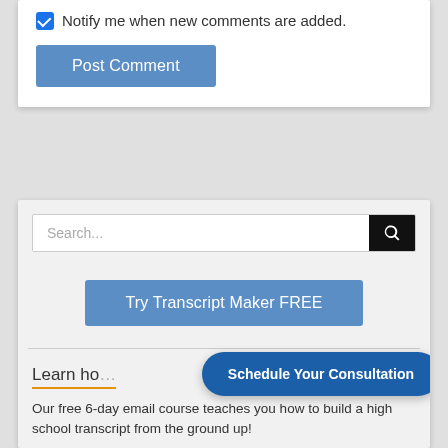Notify me when new comments are added.
Post Comment
[Figure (screenshot): Search bar with text input and black search icon button]
Try Transcript Maker FREE
Learn ho...
Our free 6-day email course teaches you how to build a high school transcript from the ground up!
Schedule Your Consultation